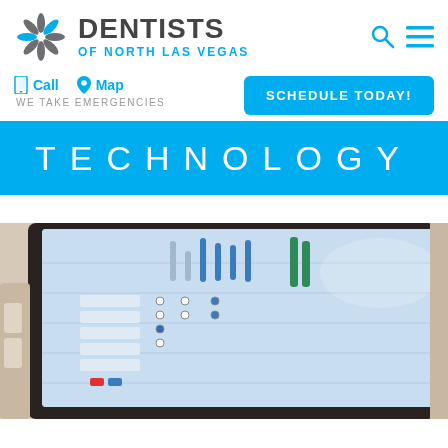[Figure (logo): Dentists of North Las Vegas logo with snowflake/starburst icon and text]
DENTISTS OF NORTH LAS VEGAS
Call   Map   WE TAKE EMERGENCIES
SCHEDULE TODAY!
TECHNOLOGY
[Figure (photo): Close-up photo of a dental technology computer screen showing scheduling or diagnostic software with blue and green indicators]